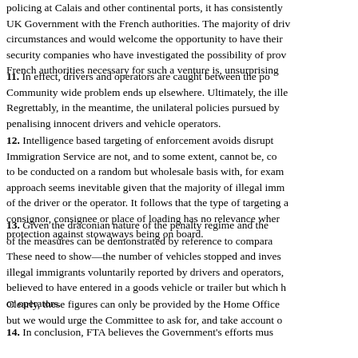policing at Calais and other continental ports, it has consistently UK Government with the French authorities. The majority of driv circumstances and would welcome the opportunity to have their security companies who have investigated the possibility of prov French authorities necessary for such a venture is, unsurprising
11.  In effect, drivers and operators are caught between the po Community wide problem ends up elsewhere. Ultimately, the ill Regrettably, in the meantime, the unilateral policies pursued by penalising innocent drivers and vehicle operators.
12.  Intelligence based targeting of enforcement avoids disrupt Immigration Service are not, and to some extent, cannot be, co to be conducted on a random but wholesale basis with, for exa approach seems inevitable given that the majority of illegal imm of the driver or the operator. It follows that the type of targeting consignor, consignee or place of loading has no relevance wher protection against stowaways being on board.
13.  Given the draconian nature of the penalty regime and the of the measures can be demonstrated by reference to compara These need to show—the number of vehicles stopped and inves illegal immigrants voluntarily reported by drivers and operators, believed to have entered in a goods vehicle or trailer but which or operators.
Clearly, these figures can only be provided by the Home Office but we would urge the Committee to ask for, and take account o
14.  In conclusion, FTA believes the Government's efforts mus